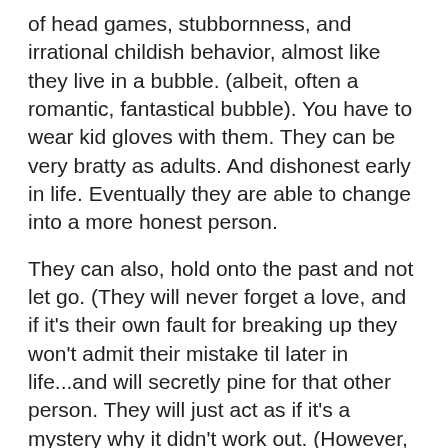of head games, stubbornness, and irrational childish behavior, almost like they live in a bubble. (albeit, often a romantic, fantastical bubble). You have to wear kid gloves with them. They can be very bratty as adults. And dishonest early in life. Eventually they are able to change into a more honest person.
They can also, hold onto the past and not let go. (They will never forget a love, and if it's their own fault for breaking up they won't admit their mistake til later in life...and will secretly pine for that other person. They will just act as if it's a mystery why it didn't work out. (However, if you did them wrong they will be very angry and ignore you, but they are able to forgive if you approach them with a sincere apology and a sweetness in your voice and love in your heart and hugs and kisses.)
They are rarely without a partner. As if they cannot live without one. And in their unevolved stage they can be major users, using others very easily. They